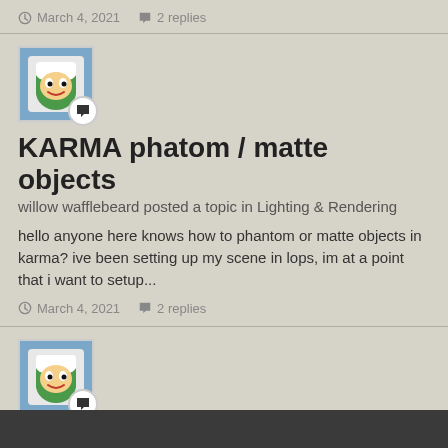March 4, 2021   2 replies
[Figure (illustration): Finn the Human avatar with chat badge icon]
KARMA phatom / matte objects
willow wafflebeard posted a topic in Lighting & Rendering
hello anyone here knows how to phantom or matte objects in karma? ive been setting up my scene in lops, im at a point that i want to setup...
March 4, 2021   2 replies
[Figure (illustration): Finn the Human avatar with chat badge icon]
What are derivatives?
willow wafflebeard replied to magneto's topic in Shaders
did you have use case for jerk ?